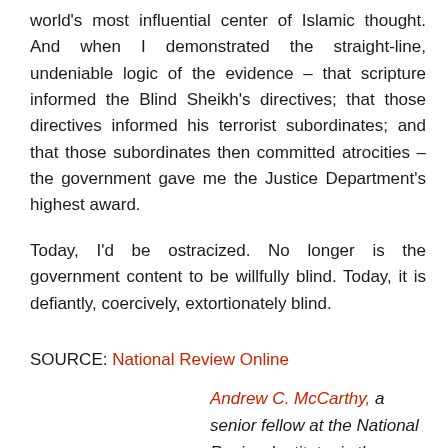world's most influential center of Islamic thought. And when I demonstrated the straight-line, undeniable logic of the evidence – that scripture informed the Blind Sheikh's directives; that those directives informed his terrorist subordinates; and that those subordinates then committed atrocities – the government gave me the Justice Department's highest award.
Today, I'd be ostracized. No longer is the government content to be willfully blind. Today, it is defiantly, coercively, extortionately blind.
SOURCE: National Review Online
Andrew C. McCarthy, a senior fellow at the National Review Institute, is the author, most